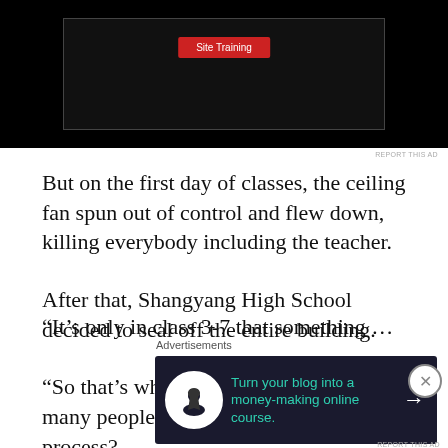[Figure (screenshot): Top advertisement banner area with dark background and red button]
REPORT THIS AD
But on the first day of classes, the ceiling fan spun out of control and flew down, killing everybody including the teacher.
After that, Shangyang High School decided to seal off the entire building.
“So that’s what had happened… How many people had died during this whole process?
“And everyone who had died was in class 3-7.”
Advertisements
[Figure (screenshot): Advertisement: Turn your blog into a money-making online course. Dark background with teal text and arrow.]